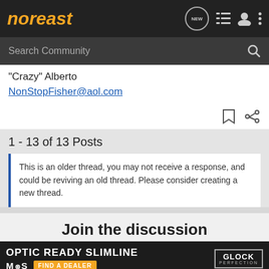noreast
Search Community
"Crazy" Alberto
NonStopFisher@aol.com
1 - 13 of 13 Posts
This is an older thread, you may not receive a response, and could be reviving an old thread. Please consider creating a new thread.
Join the discussion
[Figure (screenshot): Advertisement banner: OPTIC READY SLIMLINE by MOS with FIND A DEALER button and Glock Perfection logo]